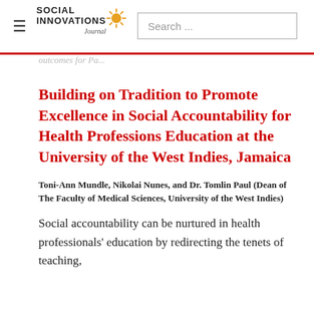Social Innovations Journal — Search bar
Building on Tradition to Promote Excellence in Social Accountability for Health Professions Education at the University of the West Indies, Jamaica
Toni-Ann Mundle, Nikolai Nunes, and Dr. Tomlin Paul (Dean of The Faculty of Medical Sciences, University of the West Indies)
Social accountability can be nurtured in health professionals' education by redirecting the tenets of teaching,